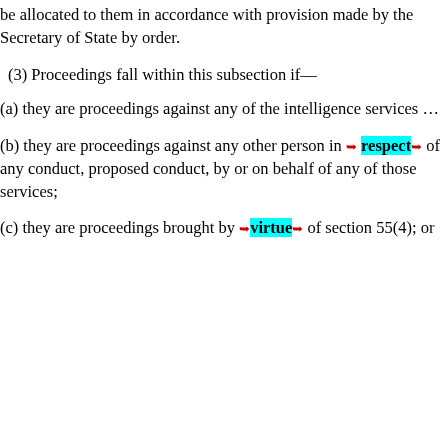be allocated to them in accordance with provision made by the Secretary of State by order.
(3) Proceedings fall within this subsection if—
(a) they are proceedings against any of the intelligence services …
(b) they are proceedings against any other person in respect of any conduct, proposed conduct, by or on behalf of any of those services;
(c) they are proceedings brought by virtue of section 55(4); or